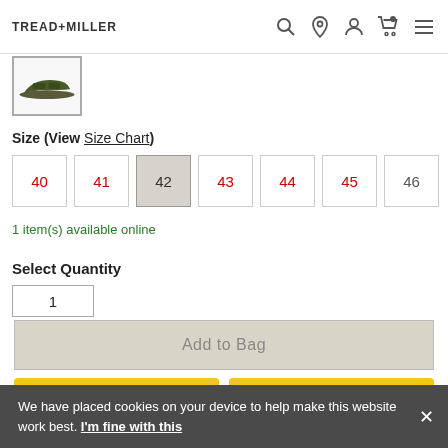TREAD+MILLER
[Figure (photo): Thumbnail of a dark green/olive slide sandal shoe]
Size (View Size Chart)
40  41  42  43  44  45  46
1 item(s) available online
Select Quantity
1
Add to Bag
PayPal
P Pay Later
We have placed cookies on your device to help make this website work best. I'm fine with this